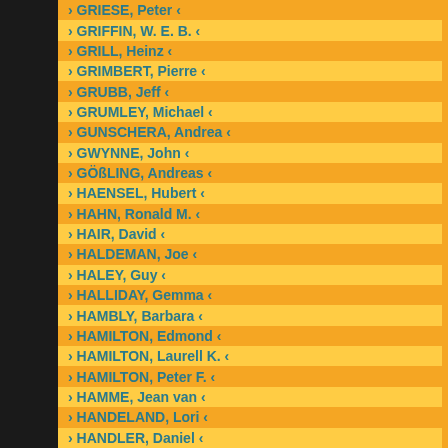› GRIESE, Peter ‹
› GRIFFIN, W. E. B. ‹
› GRILL, Heinz ‹
› GRIMBERT, Pierre ‹
› GRUBB, Jeff ‹
› GRUMLEY, Michael ‹
› GUNSCHERA, Andrea ‹
› GWYNNE, John ‹
› GÖßLING, Andreas ‹
› HAENSEL, Hubert ‹
› HAHN, Ronald M. ‹
› HAIR, David ‹
› HALDEMAN, Joe ‹
› HALEY, Guy ‹
› HALLIDAY, Gemma ‹
› HAMBLY, Barbara ‹
› HAMILTON, Edmond ‹
› HAMILTON, Laurell K. ‹
› HAMILTON, Peter F. ‹
› HAMME, Jean van ‹
› HANDELAND, Lori ‹
› HANDLER, Daniel ‹